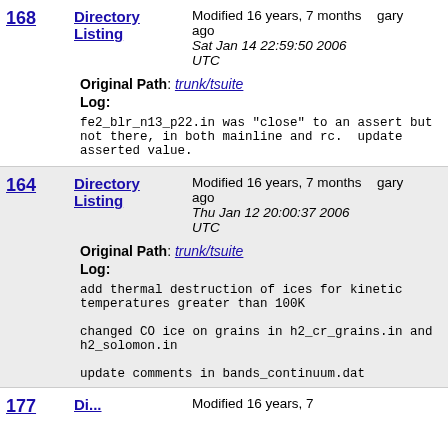168 | Directory Listing | Modified 16 years, 7 months ago Sat Jan 14 22:59:50 2006 UTC | gary
Original Path: trunk/tsuite
Log:
fe2_blr_n13_p22.in was "close" to an assert but not there, in both mainline and rc.  update asserted value.
164 | Directory Listing | Modified 16 years, 7 months ago Thu Jan 12 20:00:37 2006 UTC | gary
Original Path: trunk/tsuite
Log:
add thermal destruction of ices for kinetic temperatures greater than 100K

changed CO ice on grains in h2_cr_grains.in and h2_solomon.in

update comments in bands_continuum.dat